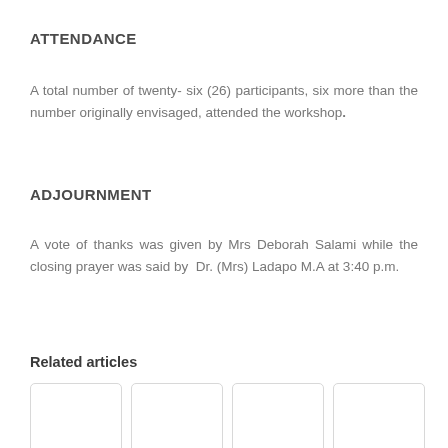ATTENDANCE
A total number of twenty- six (26) participants, six more than the number originally envisaged, attended the workshop.
ADJOURNMENT
A vote of thanks was given by Mrs Deborah Salami while the closing prayer was said by  Dr. (Mrs) Ladapo M.A at 3:40 p.m.
Related articles
[Figure (other): Four article card thumbnails displayed in a row, each with a light gray border and white background.]